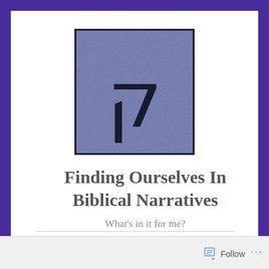[Figure (illustration): Book cover image: blue-grey textured square with a black Hebrew letter (Kuf/Qoph) printed on it, thick black border around the square]
Finding Ourselves In Biblical Narratives
What's in it for me?